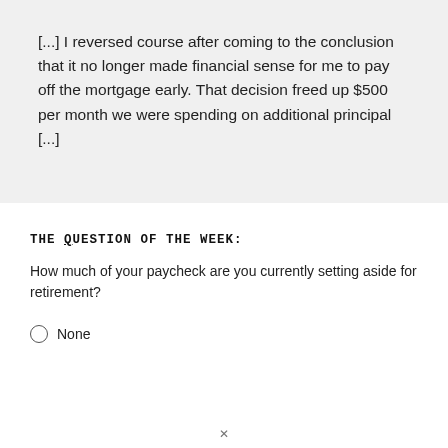[...] I reversed course after coming to the conclusion that it no longer made financial sense for me to pay off the mortgage early. That decision freed up $500 per month we were spending on additional principal [...]
THE QUESTION OF THE WEEK:
How much of your paycheck are you currently setting aside for retirement?
None